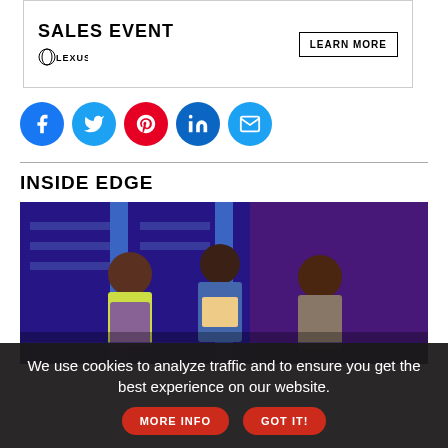[Figure (other): Lexus advertisement banner with 'SALES EVENT' text, Lexus logo, and 'LEARN MORE' button]
[Figure (other): Social media sharing icons: Facebook, Twitter, Pinterest, LinkedIn, Email]
INSIDE EDGE
[Figure (photo): Three people standing in a TV show set with shelves of products and blue/purple lighting in the background]
We use cookies to analyze traffic and to ensure you get the best experience on our website.
MORE INFO
GOT IT!